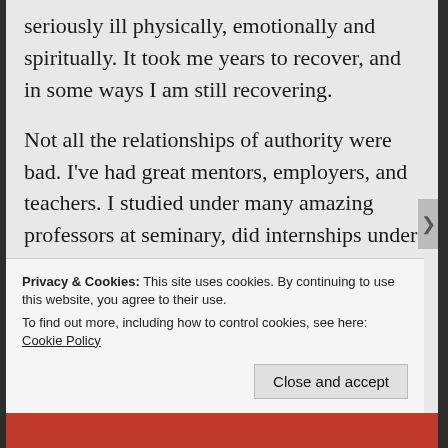seriously ill physically, emotionally and spiritually. It took me years to recover, and in some ways I am still recovering.
Not all the relationships of authority were bad. I've had great mentors, employers, and teachers. I studied under many amazing professors at seminary, did internships under wonderful pastors and lay leaders. The difference, I've found, besides the people themselves, is that in the great relationships the authority was clearly defined and limited. In the bad ones, the ones that did the damage, the authority over me was broad and
Privacy & Cookies: This site uses cookies. By continuing to use this website, you agree to their use.
To find out more, including how to control cookies, see here: Cookie Policy
Close and accept